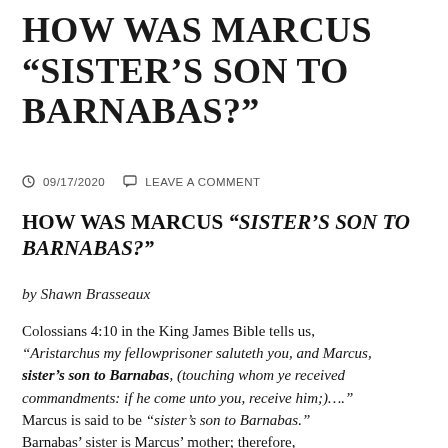HOW WAS MARCUS “SISTER’S SON TO BARNABAS?”
09/17/2020   LEAVE A COMMENT
HOW WAS MARCUS “SISTER’S SON TO BARNABAS?”
by Shawn Brasseaux
Colossians 4:10 in the King James Bible tells us, “Aristarchus my fellowprisoner saluteth you, and Marcus, sister’s son to Barnabas, (touching whom ye received commandments: if he come unto you, receive him;)….” Marcus is said to be “sister’s son to Barnabas.” Barnabas’ sister is Marcus’ mother; therefore, Marcus is Barnabas’ ...